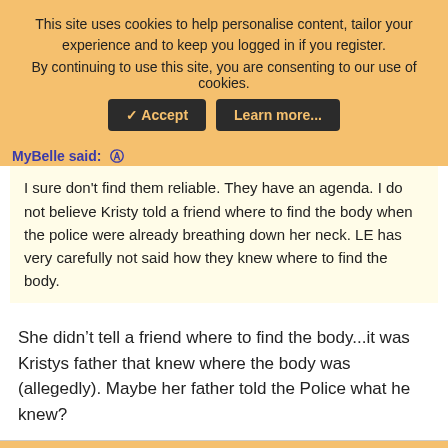This site uses cookies to help personalise content, tailor your experience and to keep you logged in if you register. By continuing to use this site, you are consenting to our use of cookies.
✓ Accept | Learn more...
MyBelle said: ↑
I sure don't find them reliable. They have an agenda. I do not believe Kristy told a friend where to find the body when the police were already breathing down her neck. LE has very carefully not said how they knew where to find the body.
She didn't tell a friend where to find the body...it was Kristys father that knew where the body was (allegedly). Maybe her father told the Police what he knew?
TNessle